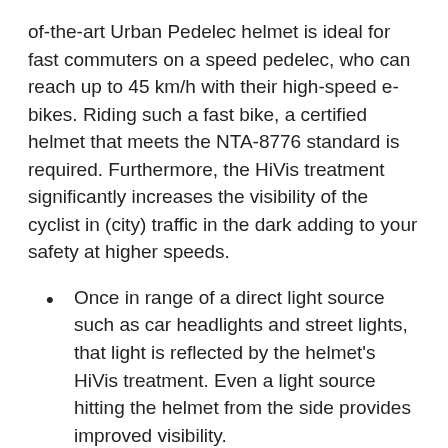of-the-art Urban Pedelec helmet is ideal for fast commuters on a speed pedelec, who can reach up to 45 km/h with their high-speed e-bikes. Riding such a fast bike, a certified helmet that meets the NTA-8776 standard is required. Furthermore, the HiVis treatment significantly increases the visibility of the cyclist in (city) traffic in the dark adding to your safety at higher speeds.
Once in range of a direct light source such as car headlights and street lights, that light is reflected by the helmet's HiVis treatment. Even a light source hitting the helmet from the side provides improved visibility.
The in-mold construction guarantees a helmet that protects well against impact.
The helmet fits comfortably and can be easily adjusted to your head size thanks to the one-